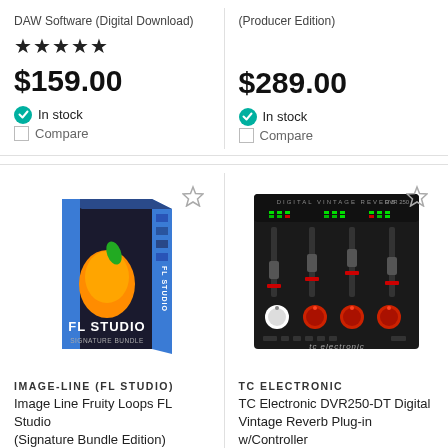DAW Software (Digital Download)
(Producer Edition)
★★★★★
$159.00
$289.00
In stock
Compare
In stock
Compare
[Figure (photo): FL Studio Signature Bundle Edition software box]
[Figure (photo): TC Electronic DVR250-DT Digital Vintage Reverb hardware unit with faders and knobs]
IMAGE-LINE (FL STUDIO)
TC ELECTRONIC
Image Line Fruity Loops FL Studio (Signature Bundle Edition)
TC Electronic DVR250-DT Digital Vintage Reverb Plug-in w/Controller
$439.00
$199.00